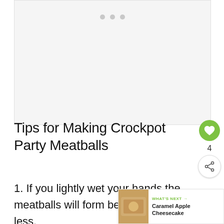[Figure (photo): Gray placeholder image area with three gray dots at the top center]
Tips for Making Crockpot Party Meatballs
1. If you lightly wet your hands the meatballs will form better and stick less.